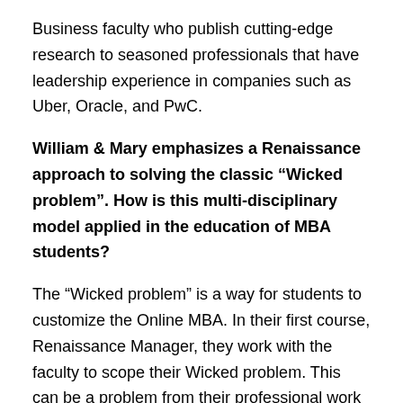Business faculty who publish cutting-edge research to seasoned professionals that have leadership experience in companies such as Uber, Oracle, and PwC.
William & Mary emphasizes a Renaissance approach to solving the classic “Wicked problem”. How is this multi-disciplinary model applied in the education of MBA students?
The “Wicked problem” is a way for students to customize the Online MBA. In their first course, Renaissance Manager, they work with the faculty to scope their Wicked problem. This can be a problem from their professional work or something of